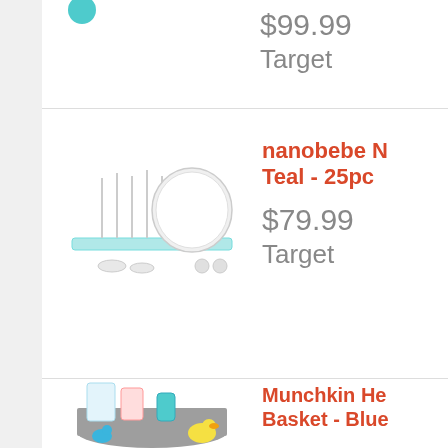[Figure (photo): Partial product image visible at top left (baby product, teal color)]
$99.99
Target
[Figure (photo): Baby bottle drying rack set in white and teal - nanobebe product]
nanobebe Newborn Teal - 25pc
$79.99
Target
[Figure (photo): Munchkin baby bath gift basket filled with bath toys and accessories in blue]
Munchkin Hello Baby Bath Basket - Blue
$84.99
Target